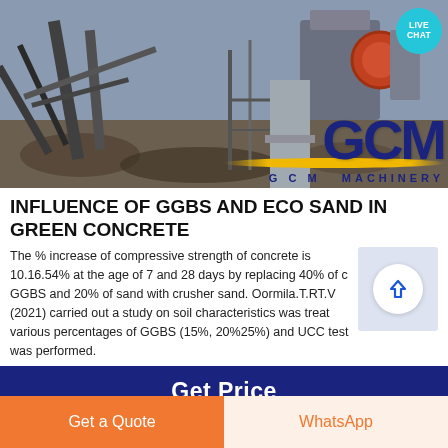[Figure (photo): Quarry and heavy crushing machinery at a mining/construction site with GCM Machinery logo overlay, live chat bubble in top right corner]
INFLUENCE OF GGBS AND ECO SAND IN GREEN CONCRETE
The % increase of compressive strength of concrete is 10.16.54% at the age of 7 and 28 days by replacing 40% of c GGBS and 20% of sand with crusher sand. Oormila.T.RT.V (2021) carried out a study on soil characteristics was treat various percentages of GGBS (15%, 20%25%) and UCC test was performed.
Get Price
Get a Quote
WhatsApp